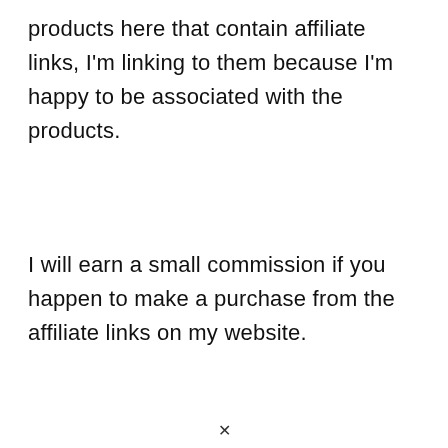products here that contain affiliate links, I'm linking to them because I'm happy to be associated with the products.
I will earn a small commission if you happen to make a purchase from the affiliate links on my website.